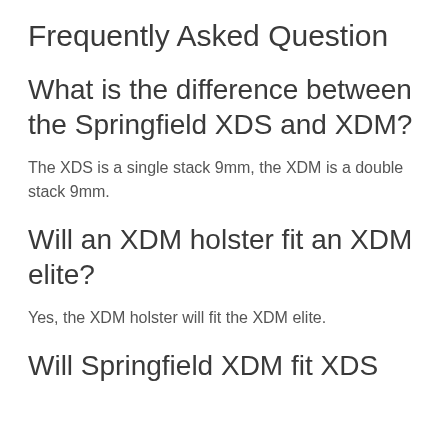Frequently Asked Question
What is the difference between the Springfield XDS and XDM?
The XDS is a single stack 9mm, the XDM is a double stack 9mm.
Will an XDM holster fit an XDM elite?
Yes, the XDM holster will fit the XDM elite.
Will Springfield XDM fit XDS